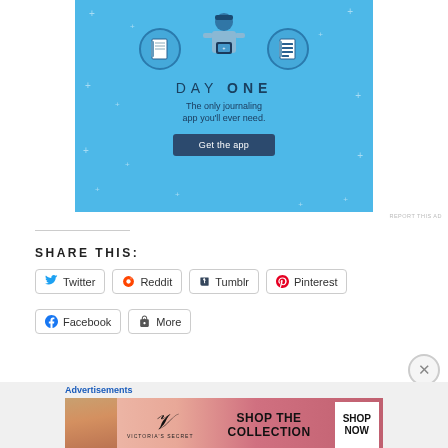[Figure (illustration): Day One journaling app advertisement banner with blue background showing icons and a figure holding a phone, with text 'DAY ONE - The only journaling app you'll ever need.' and a 'Get the app' button]
REPORT THIS AD
SHARE THIS:
Twitter
Reddit
Tumblr
Pinterest
Facebook
More
Advertisements
[Figure (photo): Victoria's Secret advertisement banner showing a woman, VS logo, text 'SHOP THE COLLECTION' and 'SHOP NOW' button]